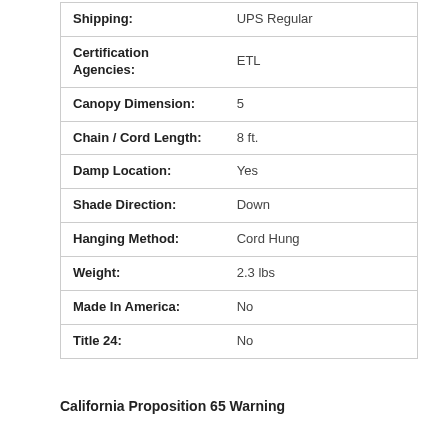| Attribute | Value |
| --- | --- |
| Shipping: | UPS Regular |
| Certification Agencies: | ETL |
| Canopy Dimension: | 5 |
| Chain / Cord Length: | 8 ft. |
| Damp Location: | Yes |
| Shade Direction: | Down |
| Hanging Method: | Cord Hung |
| Weight: | 2.3 lbs |
| Made In America: | No |
| Title 24: | No |
California Proposition 65 Warning